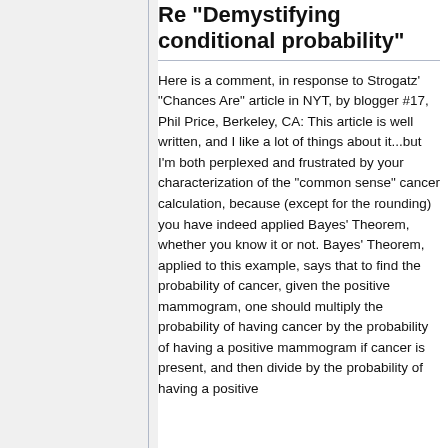Re "Demystifying conditional probability"
Here is a comment, in response to Strogatz' "Chances Are" article in NYT, by blogger #17, Phil Price, Berkeley, CA: This article is well written, and I like a lot of things about it...but I'm both perplexed and frustrated by your characterization of the "common sense" cancer calculation, because (except for the rounding) you have indeed applied Bayes' Theorem, whether you know it or not. Bayes' Theorem, applied to this example, says that to find the probability of cancer, given the positive mammogram, one should multiply the probability of having cancer by the probability of having a positive mammogram if cancer is present, and then divide by the probability of having a positive